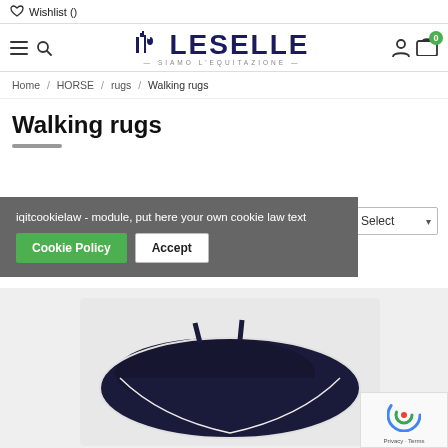♡ Wishlist ()
[Figure (logo): LeSelle equestrian brand logo with horse motif and text 'SIAMO L'EQUITAZIONE']
Home / HORSE / rugs / Walking rugs
Walking rugs
iqitcookielaw - module, put here your own cookie law text
Cookie Policy   Accept
[Figure (photo): A dark navy blue horse walking rug on a light background]